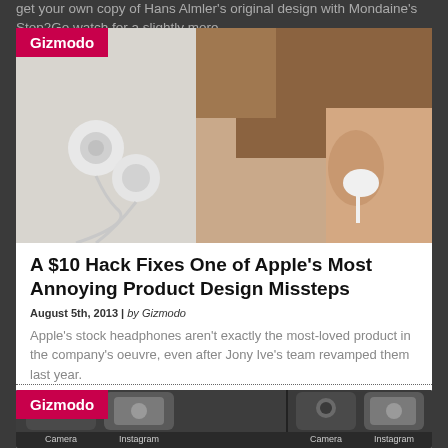get your own copy of Hans Almler's original design with Mondaine's Stop2Go watch for a slightly more
[Figure (photo): Photo of white Apple EarPods headphones lying on a white surface, and a close-up of a woman's ear with an EarPod inserted. Gizmodo logo badge overlaid in top-left corner.]
A $10 Hack Fixes One of Apple's Most Annoying Product Design Missteps
August 5th, 2013 | by Gizmodo
Apple's stock headphones aren't exactly the most-loved product in the company's oeuvre, even after Jony Ive's team revamped them last year.
[Figure (screenshot): Partial view of a second Gizmodo article card showing app icons including Camera and Instagram, with Gizmodo logo badge in top-left corner.]